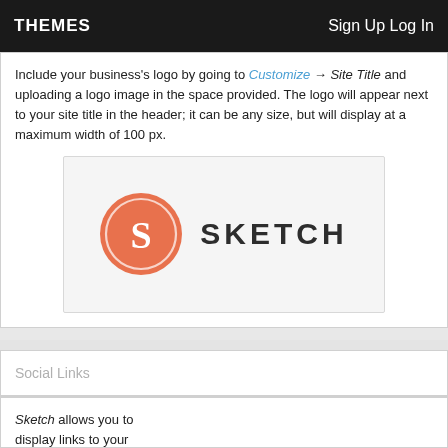THEMES   Sign Up Log In
Include your business's logo by going to Customize → Site Title and uploading a logo image in the space provided. The logo will appear next to your site title in the header; it can be any size, but will display at a maximum width of 100 px.
[Figure (logo): Sketch logo: orange circle with white 'S' letter and the word SKETCH in bold dark letters]
Social Links
Sketch allows you to display links to your